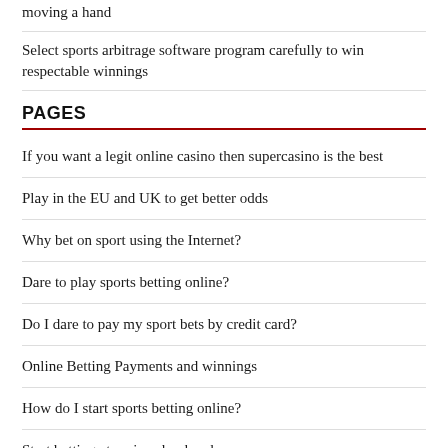moving a hand
Select sports arbitrage software program carefully to win respectable winnings
PAGES
If you want a legit online casino then supercasino is the best
Play in the EU and UK to get better odds
Why bet on sport using the Internet?
Dare to play sports betting online?
Do I dare to pay my sport bets by credit card?
Online Betting Payments and winnings
How do I start sports betting online?
Start betting at various bookmakers
Can you win sports betting online every time?